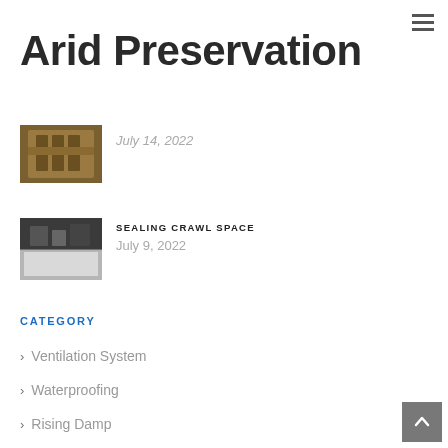Arid Preservation
[Figure (photo): Thumbnail image of ornate woodwork/grille, partially visible at top]
July 14, 2022
[Figure (photo): Thumbnail image of crawl space interior with plastic sheeting]
SEALING CRAWL SPACE
July 9, 2022
CATEGORY
Ventilation System
Waterproofing
Rising Damp